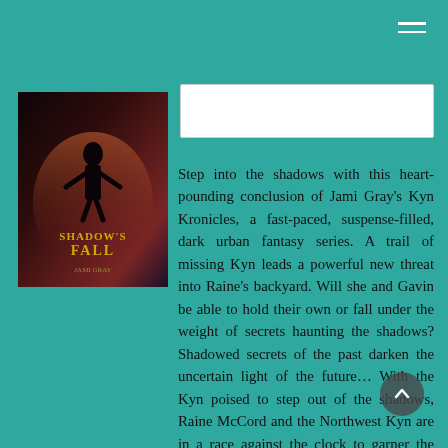[Figure (illustration): Book cover for 'Shadow's Fall' by Jami Gray from the Kyn Kronicles series, showing a dark urban fantasy scene with a figure and stylized title text in gold.]
Step into the shadows with this heart-pounding conclusion of Jami Gray's Kyn Kronicles, a fast-paced, suspense-filled, dark urban fantasy series. A trail of missing Kyn leads a powerful new threat into Raine's backyard. Will she and Gavin be able to hold their own or fall under the weight of secrets haunting the shadows? Shadowed secrets of the past darken the uncertain light of the future... With the Kyn poised to step out of the shadows, Raine McCord and the Northwest Kyn are in a race against the clock to garner the humans' acceptance of a